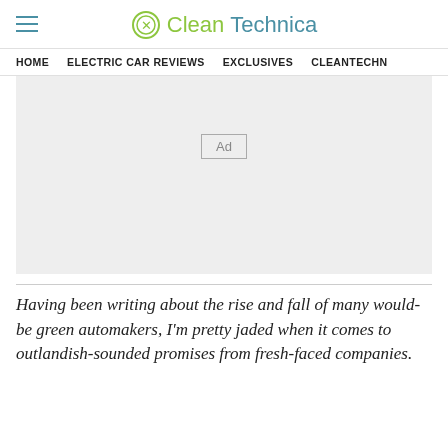CleanTechnica
HOME   ELECTRIC CAR REVIEWS   EXCLUSIVES   CLEANTECHN
[Figure (other): Advertisement placeholder box with 'Ad' label in center]
Having been writing about the rise and fall of many would-be green automakers, I'm pretty jaded when it comes to outlandish-sounded promises from fresh-faced companies.